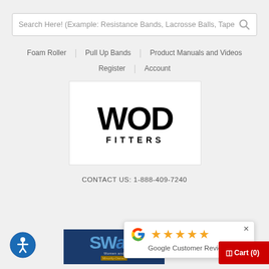[Figure (screenshot): Search bar with placeholder text: Search Here! (Example: Resistance Bands, Lacrosse Balls, Tape) and a search icon on the right]
Foam Roller | Pull Up Bands | Product Manuals and Videos | Register | Account
[Figure (logo): WOD FITTERS logo — bold black text WOD on top, FITTERS below in spaced capitals, white background with border]
CONTACT US: 1-888-409-7240
[Figure (infographic): Accessibility icon — circular blue button with white person/wheelchair symbol]
[Figure (screenshot): Partial dark blue banner with SW text and Minority-Owned badge]
[Figure (infographic): Google Customer Reviews popup with Google G logo and five gold stars, close button (x) in top right corner]
[Figure (screenshot): Partial red Cart (0) button visible at bottom right]